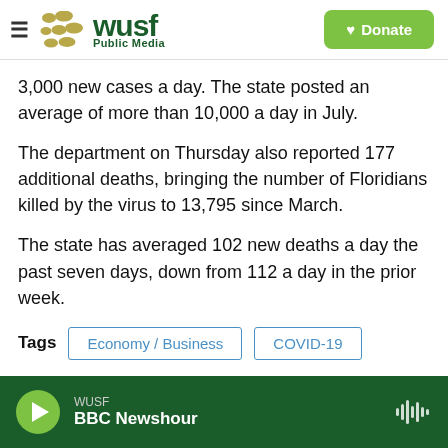WUSF Public Media — Donate
3,000 new cases a day. The state posted an average of more than 10,000 a day in July.
The department on Thursday also reported 177 additional deaths, bringing the number of Floridians killed by the virus to 13,795 since March.
The state has averaged 102 new deaths a day the past seven days, down from 112 a day in the prior week.
Tags  Economy / Business  COVID-19
WUSF  BBC Newshour